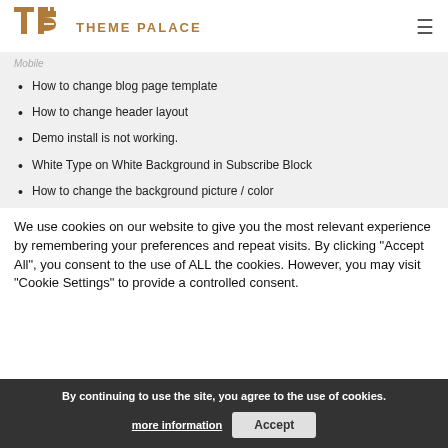THEME PALACE
How to change blog page template
How to change header layout
Demo install is not working.
White Type on White Background in Subscribe Block
How to change the background picture / color
We use cookies on our website to give you the most relevant experience by remembering your preferences and repeat visits. By clicking “Accept All”, you consent to the use of ALL the cookies. However, you may visit "Cookie Settings" to provide a controlled consent.
By continuing to use the site, you agree to the use of cookies. more information Accept